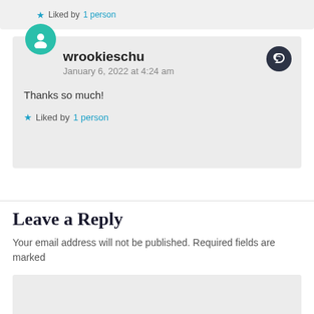Liked by 1 person
wrookieschu
January 6, 2022 at 4:24 am

Thanks so much!

Liked by 1 person
Leave a Reply
Your email address will not be published. Required fields are marked